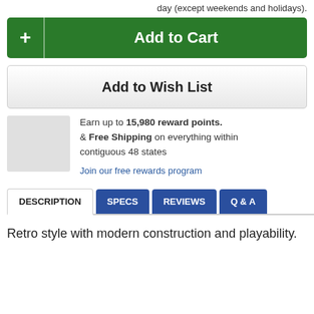day (except weekends and holidays).
[Figure (other): Add to Cart button — green button with plus icon on left and 'Add to Cart' label]
[Figure (other): Add to Wish List button — gray gradient button]
Earn up to 15,980 reward points. & Free Shipping on everything within contiguous 48 states
Join our free rewards program
[Figure (other): Navigation tabs: DESCRIPTION (active/white), SPECS (blue), REVIEWS (blue), Q & A (blue)]
Retro style with modern construction and playability.